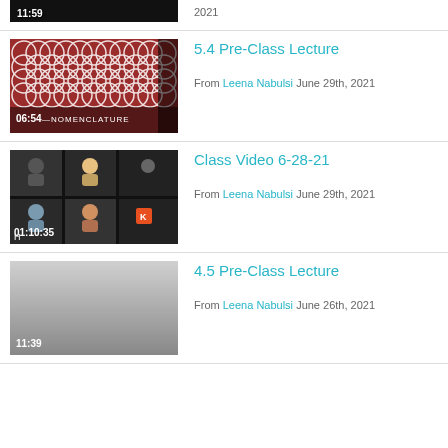[Figure (screenshot): Video thumbnail cropped at top showing timestamp 11:59, partial dark image]
2021
[Figure (screenshot): Video thumbnail with red and white geometric pattern, timestamp 06:54 with text NOMENCLATURE]
5.4 Pre-Class Lecture
From Leena Nabulsi June 29th, 2021
[Figure (screenshot): Video thumbnail showing Zoom class grid of participants, timestamp 01:10:35]
Class Video 6-28-21
From Leena Nabulsi June 29th, 2021
[Figure (screenshot): Video thumbnail with gradient gray background, timestamp 11:39]
4.5 Pre-Class Lecture
From Leena Nabulsi June 26th, 2021